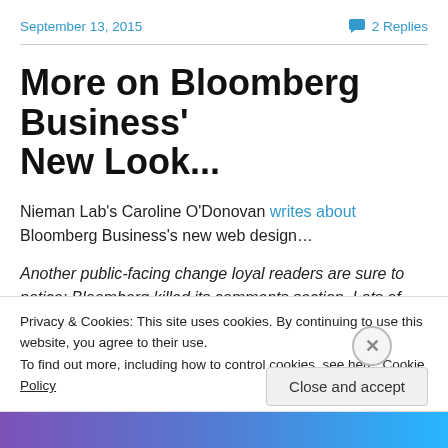September 13, 2015
2 Replies
More on Bloomberg Business' New Look...
Nieman Lab's Caroline O'Donovan writes about Bloomberg Business's new web design…
Another public-facing change loyal readers are sure to notice: Bloomberg killed its comments section. Lots of
Privacy & Cookies: This site uses cookies. By continuing to use this website, you agree to their use. To find out more, including how to control cookies, see here: Cookie Policy
Close and accept